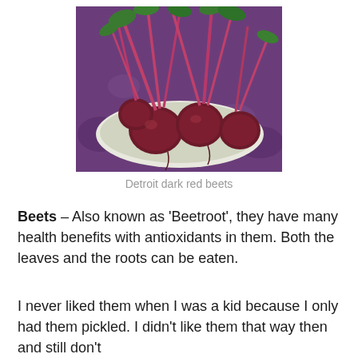[Figure (photo): A bowl of Detroit dark red beets with long stems and leaves, placed on a patterned purple/blue cloth]
Detroit dark red beets
Beets – Also known as 'Beetroot', they have many health benefits with antioxidants in them. Both the leaves and the roots can be eaten.
I never liked them when I was a kid because I only had them pickled. I didn't like them that way then and still don't